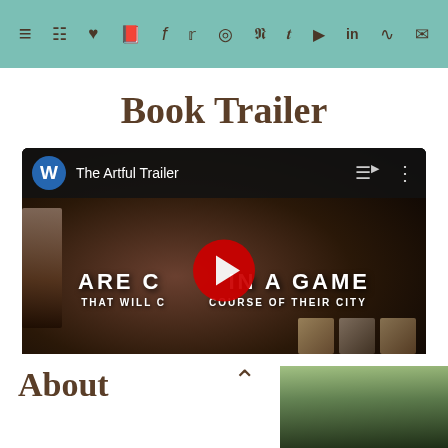Navigation bar with menu and social icons
Book Trailer
[Figure (screenshot): YouTube video embed showing 'The Artful Trailer' with text overlays 'ARE CAUGHT IN A GAME' and 'THAT WILL C... COURSE OF THEIR CITY', with a red YouTube play button, blue W avatar, and dark cinematic background]
About